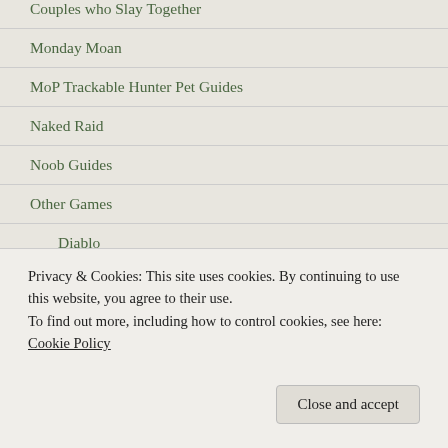Couples who Slay Together
Monday Moan
MoP Trackable Hunter Pet Guides
Naked Raid
Noob Guides
Other Games
Diablo
Minecraft
RIFT
Tablet Games
Wildstar
Privacy & Cookies: This site uses cookies. By continuing to use this website, you agree to their use.
To find out more, including how to control cookies, see here: Cookie Policy
Close and accept